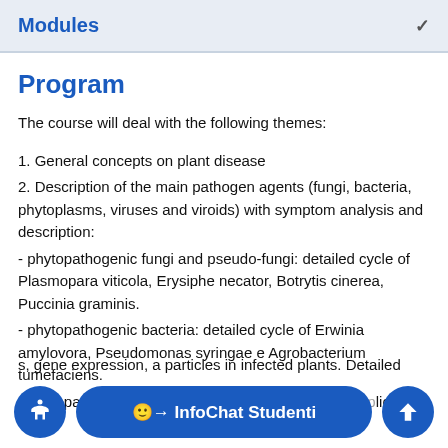Modules
Program
The course will deal with the following themes:
1. General concepts on plant disease
2. Description of the main pathogen agents (fungi, bacteria, phytoplasms, viruses and viroids) with symptom analysis and description:
- phytopathogenic fungi and pseudo-fungi: detailed cycle of Plasmopara viticola, Erysiphe necator, Botrytis cinerea, Puccinia graminis.
- phytopathogenic bacteria: detailed cycle of Erwinia amylovora, Pseudomonas syringae e Agrobacterium tumefaciens.
- phytopathogenic viruses: basic knowledge of the replication, gene expression, a... particles in infected plants. Detailed examples: Tobacco Mosaic